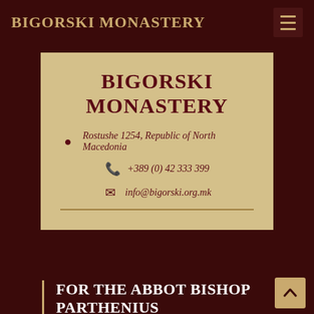BIGORSKI MONASTERY
BIGORSKI MONASTERY
Rostushe 1254, Republic of North Macedonia
+389 (0) 42 333 399
info@bigorski.org.mk
FOR THE ABBOT BISHOP PARTHENIUS
fr. Anatolius
+389 (0) 70 387 240
fr. Cyril
+389 (0) 78 495 616